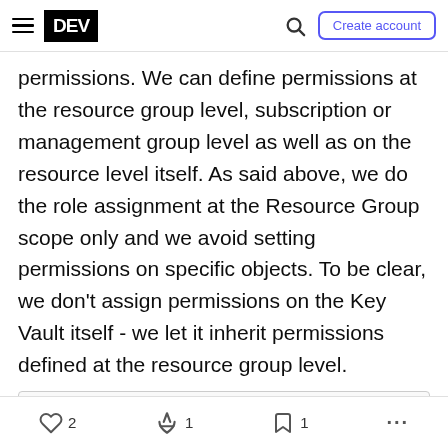DEV | Create account
permissions. We can define permissions at the resource group level, subscription or management group level as well as on the resource level itself. As said above, we do the role assignment at the Resource Group scope only and we avoid setting permissions on specific objects. To be clear, we don't assign permissions on the Key Vault itself - we let it inherit permissions defined at the resource group level.
[Figure (screenshot): Screenshot of Azure Key Vault Access Control (IAM) page showing role assignments and a warning that the resource will inherit the role assignments from the resource group.]
2 likes  1 unicorn  1 bookmark  more options